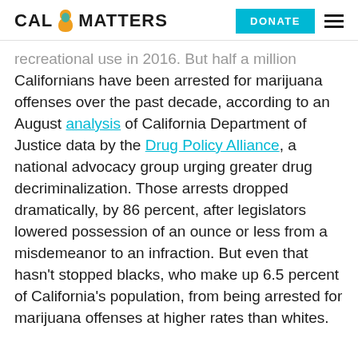CAL MATTERS | DONATE
recreational use in 2016. But half a million Californians have been arrested for marijuana offenses over the past decade, according to an August analysis of California Department of Justice data by the Drug Policy Alliance, a national advocacy group urging greater drug decriminalization. Those arrests dropped dramatically, by 86 percent, after legislators lowered possession of an ounce or less from a misdemeanor to an infraction. But even that hasn't stopped blacks, who make up 6.5 percent of California's population, from being arrested for marijuana offenses at higher rates than whites.